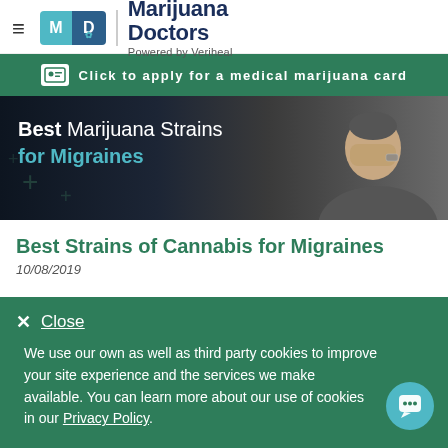Marijuana Doctors — Powered by Veriheal
Click to apply for a medical marijuana card
[Figure (photo): Hero banner showing a man covering his face with his hands, with text overlay reading 'Best Marijuana Strains for Migraines']
Best Strains of Cannabis for Migraines
10/08/2019
✕ Close
We use our own as well as third party cookies to improve your site experience and the services we make available. You can learn more about our use of cookies in our Privacy Policy.